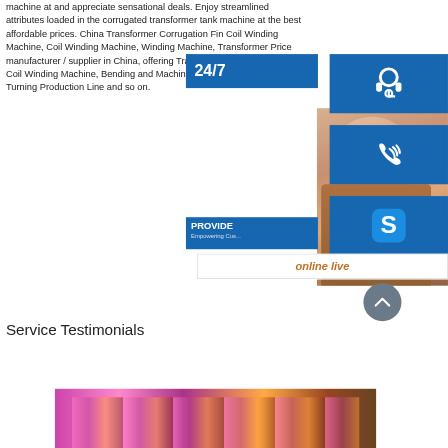machine at and appreciate sensational deals. Enjoy streamlined attributes loaded in the corrugated transformer tank machine at the best affordable prices. China Transformer Corrugation Fin Coil Winding Machine, Coil Winding Machine, Winding Machine, Transformer Price manufacturer / supplier in China, offering Transformer Corrugation Fin Coil Winding Machine, Bending and Machine for Outer Tank, CNC Turning Production Line and so on.
[Figure (infographic): Customer service sidebar overlay with 24/7 label, headset icon, phone icon, Skype icon, photo of woman with headset, PROVIDE Empowering Customers text, online live button, and scroll-up arrow.]
Service Testimonials
[Figure (photo): Partial view of what appears to be industrial machinery or a testimonial video thumbnail with pink/purple lighting.]